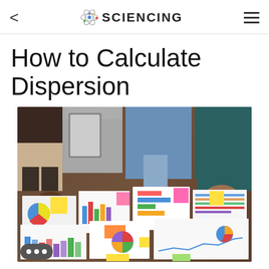< SCIENCING ≡
How to Calculate Dispersion
[Figure (photo): People standing around a table covered with printed charts, graphs, and data reports including bar charts, pie charts, and line graphs on white paper sheets with colorful sticky notes.]